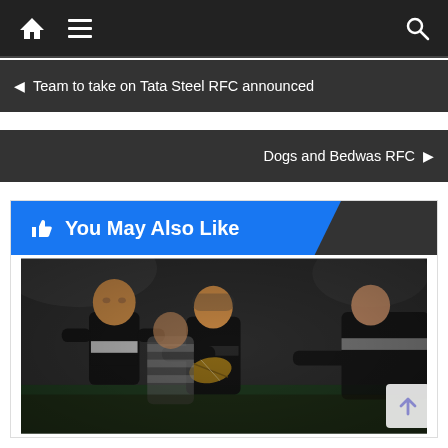Navigation bar with home, menu, and search icons
◄ Team to take on Tata Steel RFC announced
Dogs and Bedwas RFC ►
👍 You May Also Like
[Figure (photo): Rugby match action photo showing players in black and white hooped jerseys competing for the ball under floodlights]